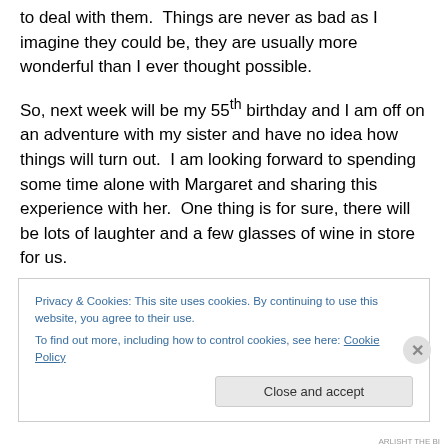to deal with them.  Things are never as bad as I imagine they could be, they are usually more wonderful than I ever thought possible.
So, next week will be my 55th birthday and I am off on an adventure with my sister and have no idea how things will turn out.  I am looking forward to spending some time alone with Margaret and sharing this experience with her.  One thing is for sure, there will be lots of laughter and a few glasses of wine in store for us.
Privacy & Cookies: This site uses cookies. By continuing to use this website, you agree to their use.
To find out more, including how to control cookies, see here: Cookie Policy
Close and accept
ARLISHT THE BI